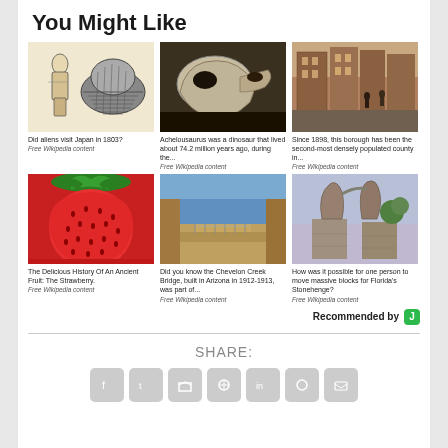You Might Like
[Figure (photo): Black and white illustration of a Japanese woman and a decorated helmet/turtle shell. Caption: Did aliens visit Japan in 1803? Free Wikipedia content]
[Figure (photo): Photograph of a dinosaur skull fossil on display. Caption: Achelousaurus was a dinosaur that lived about 74.2 million years ago, during the... Free Wikipedia content]
[Figure (photo): Photograph of a street with brick row houses and people walking. Caption: Since 1898, this borough has been the second-most densely populated county in... Free Wikipedia content]
[Figure (photo): Close-up photo of a large red strawberry. Caption: The Delicious History Of An Ancient Fruit: The Strawberry. Free Wikipedia content]
[Figure (photo): Photo of a desert bridge in Arizona landscape. Caption: Did you know the Chevelon Creek Bridge, built in Arizona in 1912-1913, was part of... Free Wikipedia content]
[Figure (photo): Photo of stone sculptural arch/horns. Caption: How was it possible for one person to move massive blocks for Florida's Stonehenge? Free Wikipedia content]
Recommended by
SHARE: